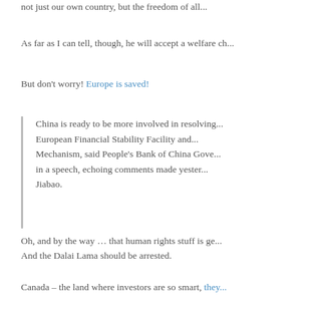not just our own country, but the freedom of all...
As far as I can tell, though, he will accept a welfare ch...
But don't worry! Europe is saved!
China is ready to be more involved in resolving... European Financial Stability Facility and... Mechanism, said People's Bank of China Gove... in a speech, echoing comments made yester... Jiabao.
Oh, and by the way … that human rights stuff is ge... And the Dalai Lama should be arrested.
Canada – the land where investors are so smart, they...
Investors who were caught up in the asset-back... freeze in 2007 may be in line for a big cheq... hoping to distribute as much as $60-million they... who sold the money market paper.
The Investment Industry Regulatory Organizati... Ontario Securities Commission will apply to th... the restructuring of the ABCP for permission to... which would go to individual and institutiona... affected. An announcement is expected as... morning, said two people familiar with the plan.